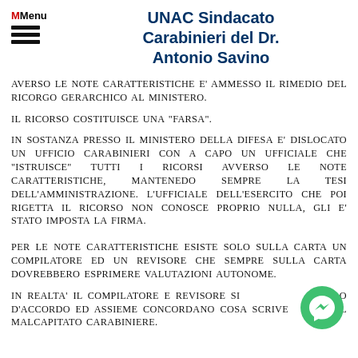Menu
UNAC Sindacato Carabinieri del Dr. Antonio Savino
AVERSO LE NOTE CARATTERISTICHE E' AMMESSO IL RIMEDIO DEL RICORGO GERARCHICO AL MINISTERO.
IL RICORSO COSTITUISCE UNA "FARSA".
IN SOSTANZA PRESSO IL MINISTERO DELLA DIFESA E' DISLOCATO UN UFFICIO CARABINIERI CON A CAPO UN UFFICIALE CHE "ISTRUISCE" TUTTI I RICORSI AVVERSO LE NOTE CARATTERISTICHE, MANTENEDO SEMPRE LA TESI DELL'AMMINISTRAZIONE. L'UFFICIALE DELL'ESERCITO CHE POI RIGETTA IL RICORSO NON CONOSCE PROPRIO NULLA, GLI E' STATO IMPOSTA LA FIRMA.
PER LE NOTE CARATTERISTICHE ESISTE SOLO SULLA CARTA UN COMPILATORE ED UN REVISORE CHE SEMPRE SULLA CARTA DOVREBBERO ESPRIMERE VALUTAZIONI AUTONOME.
IN REALTA' IL COMPILATORE E REVISORE SI METTONO D'ACCORDO ED ASSIEME CONCORDANO COSA SCRIVERE SUL MALCAPITATO CARABINIERE.
[Figure (other): Green circular Messenger chat icon button in bottom-right corner]